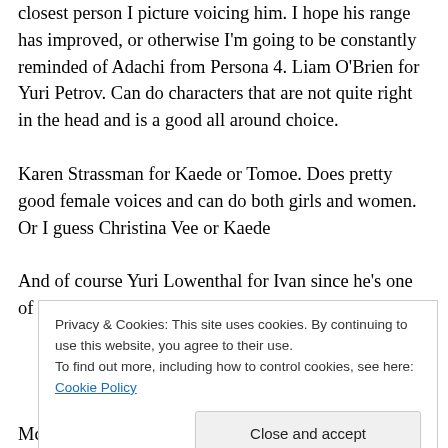closest person I picture voicing him. I hope his range has improved, or otherwise I'm going to be constantly reminded of Adachi from Persona 4. Liam O'Brien for Yuri Petrov. Can do characters that are not quite right in the head and is a good all around choice.
Karen Strassman for Kaede or Tomoe. Does pretty good female voices and can do both girls and women. Or I guess Christina Vee or Kaede
And of course Yuri Lowenthal for Ivan since he's one of my favorite English VAs and he could
Privacy & Cookies: This site uses cookies. By continuing to use this website, you agree to their use.
To find out more, including how to control cookies, see here: Cookie Policy
[Close and accept]
McNeil and he's decent so I'm going with that